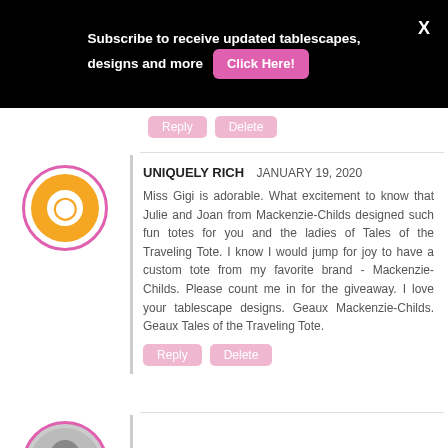Subscribe to receive updated tablescapes, designs and more  Click Here!  X
Reply  Delete
UNIQUELY RICH  JANUARY 19, 2020
Miss Gigi is adorable. What excitement to know that Julie and Joan from Mackenzie-Childs designed such fun totes for you and the ladies of Tales of the Traveling Tote. I know I would jump for joy to have a custom tote from my favorite brand - Mackenzie-Childs. Please count me in for the giveaway. I love your tablescape designs. Geaux Mackenzie-Childs. Geaux Tales of the Traveling Tote.
Reply  Delete